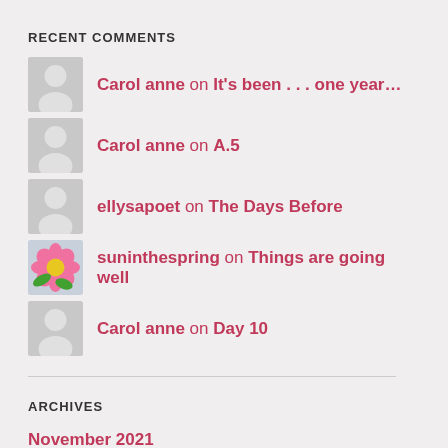RECENT COMMENTS
Carol anne on It's been . . . one year…
Carol anne on A.5
ellysapoet on The Days Before
suninthespring on Things are going well
Carol anne on Day 10
ARCHIVES
November 2021